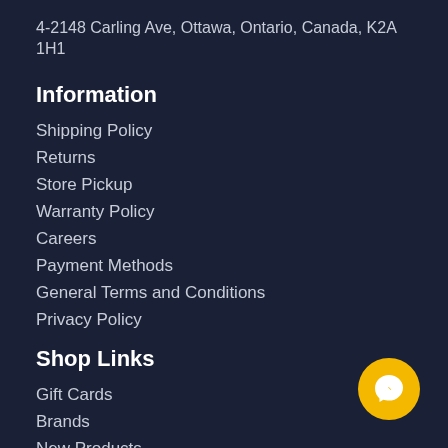4-2148 Carling Ave, Ottawa, Ontario, Canada, K2A 1H1
Information
Shipping Policy
Returns
Store Pickup
Warranty Policy
Careers
Payment Methods
General Terms and Conditions
Privacy Policy
Shop Links
Gift Cards
Brands
New Products
Deals
All Products
Best Exchange Guarantee
[Figure (logo): Yellow circular Messenger chat button icon]